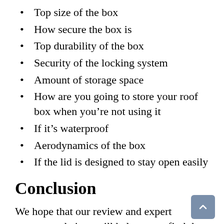Top size of the box
How secure the box is
Top durability of the box
Security of the locking system
Amount of storage space
How are you going to store your roof box when you're not using it
If it's waterproof
Aerodynamics of the box
If the lid is designed to stay open easily
Conclusion
We hope that our review and expert recommendations will help you to find the perfect roof box for you. All of your needs